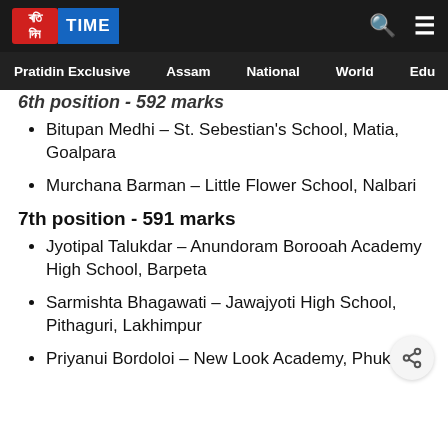Pratidin TIME — Pratidin Exclusive | Assam | National | World | Edu
6th position - 592 marks
Bitupan Medhi – St. Sebestian's School, Matia, Goalpara
Murchana Barman – Little Flower School, Nalbari
7th position - 591 marks
Jyotipal Talukdar – Anundoram Borooah Academy High School, Barpeta
Sarmishta Bhagawati – Jawajyoti High School, Pithaguri, Lakhimpur
Priyanui Bordoloi – New Look Academy, Phukan